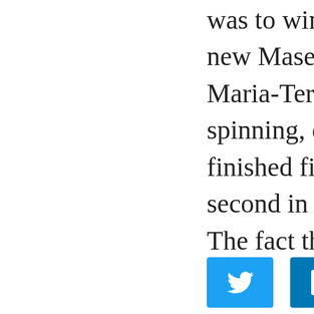was to win the race in his new Maserati A6GCS and Maria-Teresa, despite spinning, eventually finished fifth overall and second in the 1100cc class. The fact that she always tended to feel patronised because she was a girl made her more and more determined to beat
[Figure (infographic): Social sharing buttons row: Twitter (blue), LinkedIn (dark blue), Pinterest (red), Facebook (blue)]